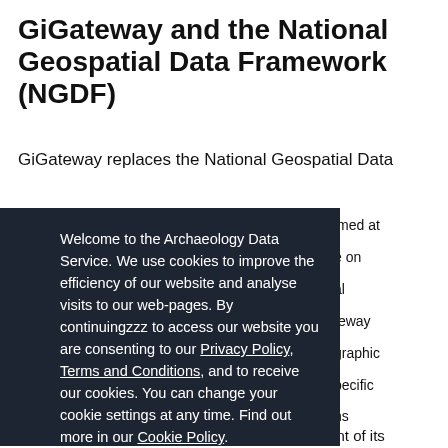GiGateway and the National Geospatial Data Framework (NGDF)
GiGateway replaces the National Geospatial Data
[Figure (screenshot): Cookie consent modal overlay on the Archaeology Data Service website. Dark navy background with white text reading: Welcome to the Archaeology Data Service. We use cookies to improve the efficiency of our website and analyse visits to our web-pages. By continuingzzz to access our website you are consenting to our Privacy Policy, Terms and Conditions, and to receive our cookies. You can change your cookie settings at any time. Find out more in our Cookie Policy. A red CONTINUE button at the bottom.]
GiGateway is currently working on redevelopment of its